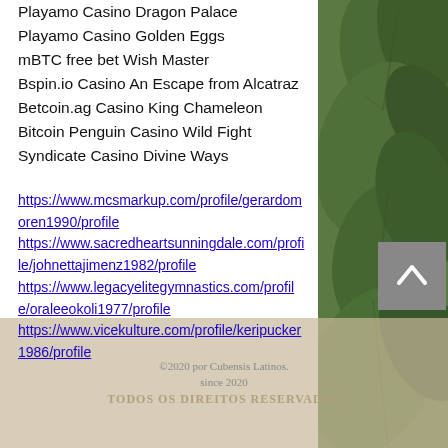Playamo Casino Dragon Palace
Playamo Casino Golden Eggs
mBTC free bet Wish Master
Bspin.io Casino An Escape from Alcatraz
Betcoin.ag Casino King Chameleon
Bitcoin Penguin Casino Wild Fight
Syndicate Casino Divine Ways
https://www.mcsmarkup.com/profile/gerardomoren1990/profile https://www.sacredheartsunningdale.com/profile/johnettajimenz1982/profile https://www.legacyelitegymnastics.com/profile/oraleeokoli1977/profile https://www.vicekulture.com/profile/keripucker1986/profile
©2020 por Cubensis Latinos. since 2020 TODOS OS DIREITOS RESERVADOS